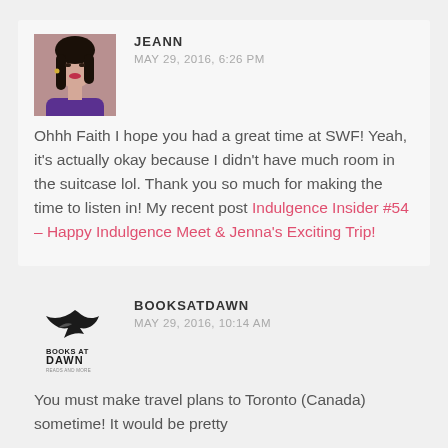[Figure (photo): Profile photo of Jeann, a young Asian woman in a purple top with red lips]
JEANN
MAY 29, 2016, 6:26 PM
Ohhh Faith I hope you had a great time at SWF! Yeah, it's actually okay because I didn't have much room in the suitcase lol. Thank you so much for making the time to listen in! My recent post Indulgence Insider #54 – Happy Indulgence Meet &amp; Jenna's Exciting Trip!
[Figure (logo): Books at Dawn logo — bird silhouette with text BOOKS AT DAWN]
BOOKSATDAWN
MAY 29, 2016, 10:14 AM
You must make travel plans to Toronto (Canada) sometime! It would be pretty